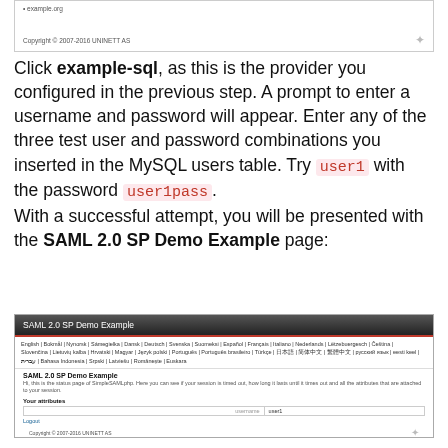[Figure (screenshot): Top portion of a web browser showing a previous page with bullet point 'example.org' and a copyright footer 'Copyright © 2007-2016 UNINETT AS']
Click example-sql, as this is the provider you configured in the previous step. A prompt to enter a username and password will appear. Enter any of the three test user and password combinations you inserted in the MySQL users table. Try user1 with the password user1pass.
With a successful attempt, you will be presented with the SAML 2.0 SP Demo Example page:
[Figure (screenshot): Screenshot of SAML 2.0 SP Demo Example page showing the header bar, language selection links, page title 'SAML 2.0 SP Demo Example', description text, 'Your attributes' section with a table showing username: user1, and a Logout link, and Copyright © 2007-2016 UNINETT AS footer]